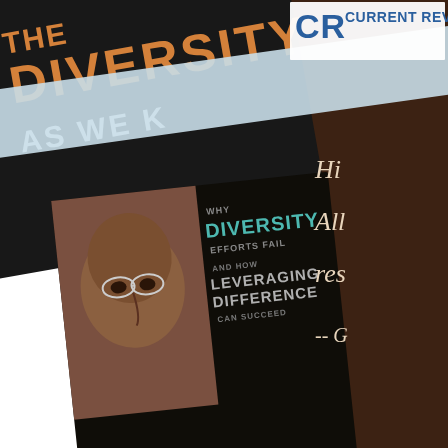[Figure (photo): Promotional image showing two overlapping book covers and a partial review quote. The back book shows 'DIVERSITY AS WE K...' in orange/white text on dark background. The front book cover shows 'WHY DIVERSITY EFFORTS FAIL AND HOW LEVERAGING DIFFERENCE CAN SUCCEED' by MARTIN N. DAVIDSON with author photo. A light blue diagonal ribbon crosses the composition. Upper right shows partial CRF (Current Reviews For) logo. The right side shows partial italic quote text 'Hi... All... res...' followed by '-- G' on a dark brown background panel.]